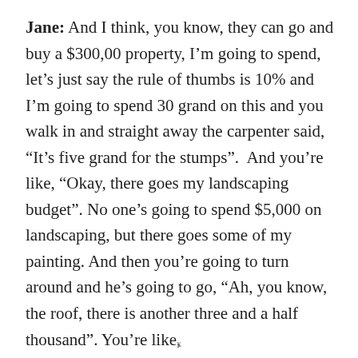Jane: And I think, you know, they can go and buy a $300,00 property, I'm going to spend, let's just say the rule of thumbs is 10% and I'm going to spend 30 grand on this and you walk in and straight away the carpenter said, “It’s five grand for the stumps”. And you’re like, “Okay, there goes my landscaping budget”. No one’s going to spend $5,000 on landscaping, but there goes some of my painting. And then you’re going to turn around and he’s going to go, “Ah, you know, the roof, there is another three and a half thousand”. You’re like,
x